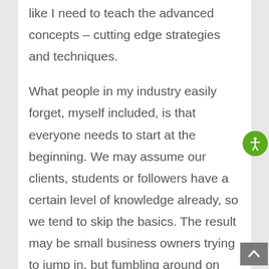like I need to teach the advanced concepts – cutting edge strategies and techniques.
What people in my industry easily forget, myself included, is that everyone needs to start at the beginning. We may assume our clients, students or followers have a certain level of knowledge already, so we tend to skip the basics. The result may be small business owners trying to jump in, but fumbling around on the dock,